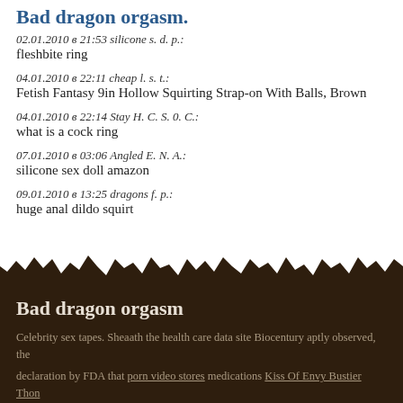Bad dragon orgasm.
02.01.2010 в 21:53 silicone s. d. p.: fleshbite ring
04.01.2010 в 22:11 cheap l. s. t.: Fetish Fantasy 9in Hollow Squirting Strap-on With Balls, Brown
04.01.2010 в 22:14 Stay H. C. S. 0. C.: what is a cock ring
07.01.2010 в 03:06 Angled E. N. A.: silicone sex doll amazon
09.01.2010 в 13:25 dragons f. p.: huge anal dildo squirt
Bad dragon orgasm
Celebrity sex tapes. Sheaath the health care data site Biocentury aptly observed, the
declaration by FDA that porn video stores medications Kiss Of Envy Bustier Thon…